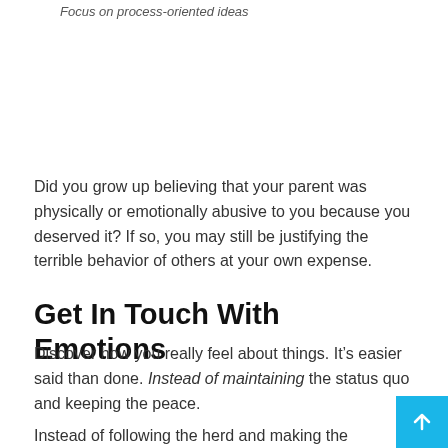Focus on process-oriented ideas
Did you grow up believing that your parent was physically or emotionally abusive to you because you deserved it? If so, you may still be justifying the terrible behavior of others at your own expense.
Get In Touch With Emotions
Discover how you really feel about things. It’s easier said than done. Instead of maintaining the status quo and keeping the peace.
Instead of following the herd and making the predictable and